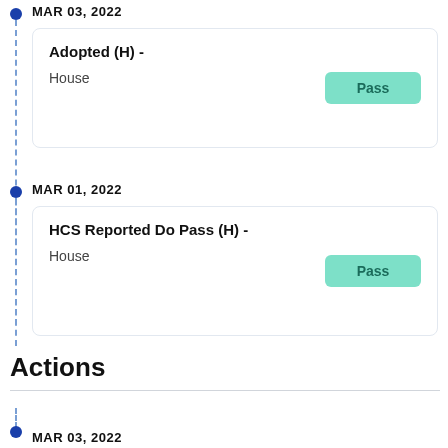MAR 03, 2022
Adopted (H) -
House
Pass
MAR 01, 2022
HCS Reported Do Pass (H) -
House
Pass
Actions
MAR 03, 2022